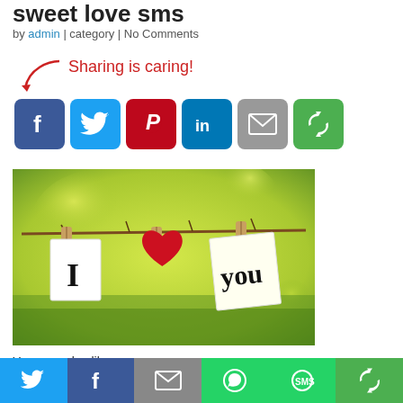sweet love sms
by admin | category | No Comments
[Figure (infographic): Sharing is caring! label with arrow pointing to social media share buttons: Facebook, Twitter, Pinterest, LinkedIn, Email, Share]
[Figure (photo): Photo of 'I love you' written on paper notes and a red heart clipped to a branch with clothespins, on a blurred yellow-green background]
You may also like:
[Figure (infographic): Bottom sharing bar with Twitter, Facebook, Email, WhatsApp, SMS, and Share buttons]